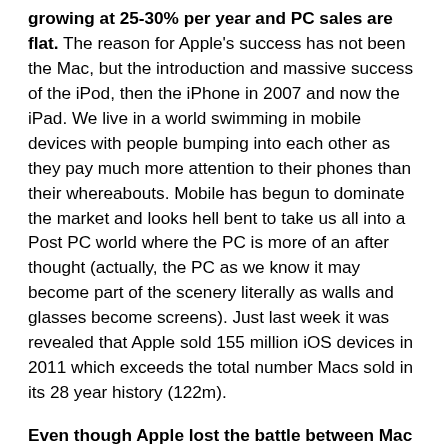growing at 25-30% per year and PC sales are flat. The reason for Apple's success has not been the Mac, but the introduction and massive success of the iPod, then the iPhone in 2007 and now the iPad. We live in a world swimming in mobile devices with people bumping into each other as they pay much more attention to their phones than their whereabouts. Mobile has begun to dominate the market and looks hell bent to take us all into a Post PC world where the PC is more of an after thought (actually, the PC as we know it may become part of the scenery literally as walls and glasses become screens). Just last week it was revealed that Apple sold 155 million iOS devices in 2011 which exceeds the total number Macs sold in its 28 year history (122m).
Even though Apple lost the battle between Mac and PC, they drove the computer industry forward, even in the Eighties and Nineties. Bill Gates could see that Apple's Macintosh technology and graphical user interface was the wave of the future. So Microsoft created Windows using the